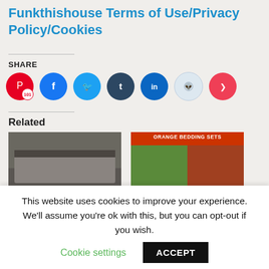Funkthishouse Terms of Use/Privacy Policy/Cookies
SHARE
[Figure (infographic): Social share buttons row: Pinterest (101), Facebook, Twitter, Tumblr, LinkedIn, Reddit, Pocket]
Related
[Figure (photo): Bedroom decor image with overlay text: HOW TO CHOOSE BEDROOM DÉCOR THAT WILL STAND THE TEST OF TIME]
Bedroom Decor that
[Figure (photo): Orange bedding sets image with text ORANGE BEDDING SETS and What Does Liking the Color]
Multi-Colored Orange
This website uses cookies to improve your experience. We'll assume you're ok with this, but you can opt-out if you wish. Cookie settings ACCEPT